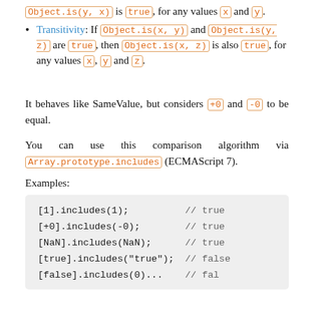Transitivity: If Object.is(x, y) and Object.is(y, z) are true, then Object.is(x, z) is also true, for any values x, y and z.
It behaves like SameValue, but considers +0 and -0 to be equal.
You can use this comparison algorithm via Array.prototype.includes (ECMAScript 7).
Examples:
[Figure (screenshot): Code block showing: [1].includes(1); // true, [+0].includes(-0); // true, [NaN].includes(NaN); // true, [true].includes("true"); // false, [false].includes(0)... // false]